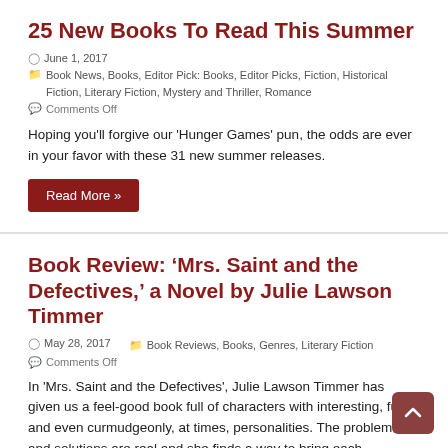25 New Books To Read This Summer
June 1, 2017  Book News, Books, Editor Pick: Books, Editor Picks, Fiction, Historical Fiction, Literary Fiction, Mystery and Thriller, Romance  Comments Off
Hoping you'll forgive our 'Hunger Games' pun, the odds are ever in your favor with these 31 new summer releases.
Read More »
Book Review: ‘Mrs. Saint and the Defectives,’ a Novel by Julie Lawson Timmer
May 28, 2017  Book Reviews, Books, Genres, Literary Fiction  Comments Off
In 'Mrs. Saint and the Defectives', Julie Lawson Timmer has given us a feel-good book full of characters with interesting, fun, and even curmudgeonly, at times, personalities. The problems and solutions are real and she finds a way to bring each character together and